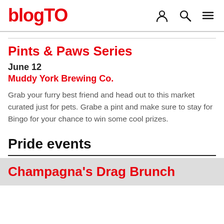blogTO
Pints & Paws Series
June 12
Muddy York Brewing Co.
Grab your furry best friend and head out to this market curated just for pets. Grabe a pint and make sure to stay for Bingo for your chance to win some cool prizes.
Pride events
Champagna's Drag Brunch